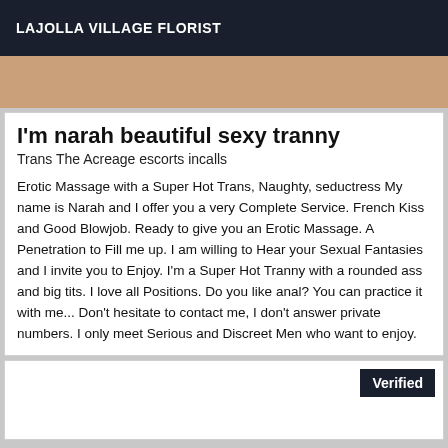LAJOLLA VILLAGE FLORIST
[Figure (photo): Partial photo strip showing skin tone background]
I'm narah beautiful sexy tranny
Trans The Acreage escorts incalls
Erotic Massage with a Super Hot Trans, Naughty, seductress My name is Narah and I offer you a very Complete Service. French Kiss and Good Blowjob. Ready to give you an Erotic Massage. A Penetration to Fill me up. I am willing to Hear your Sexual Fantasies and I invite you to Enjoy. I'm a Super Hot Tranny with a rounded ass and big tits. I love all Positions. Do you like anal? You can practice it with me... Don't hesitate to contact me, I don't answer private numbers. I only meet Serious and Discreet Men who want to enjoy.
Verified